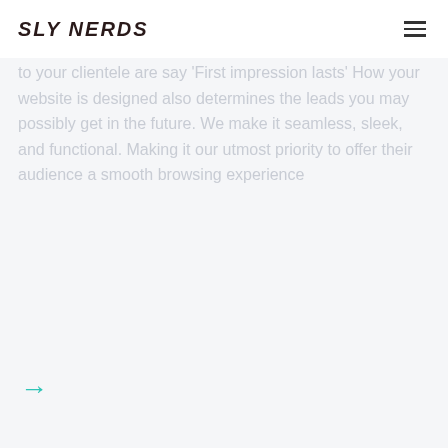SLY NERDS
to your clientele are say 'First impression lasts' How your website is designed also determines the leads you may possibly get in the future. We make it seamless, sleek, and functional. Making it our utmost priority to offer their audience a smooth browsing experience
→